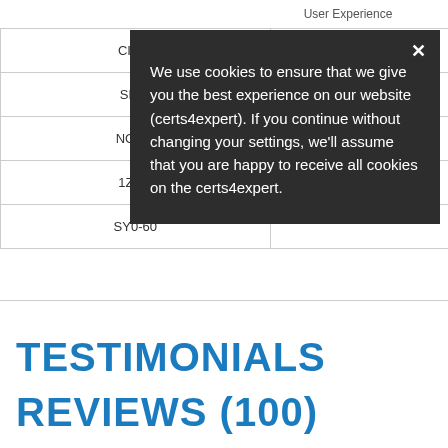User Experience
| Exam | User Experience |
| --- | --- |
| CIPP- |  |
| SPC- |  |
| NCP-5 |  |
| 1Z0-8 |  |
| SY0-60 |  |
TESTIMONIALS
REVIEWS (100)
We use cookies to ensure that we give you the best experience on our website (certs4expert). If you continue without changing your settings, we'll assume that you are happy to receive all cookies on the certs4expert.